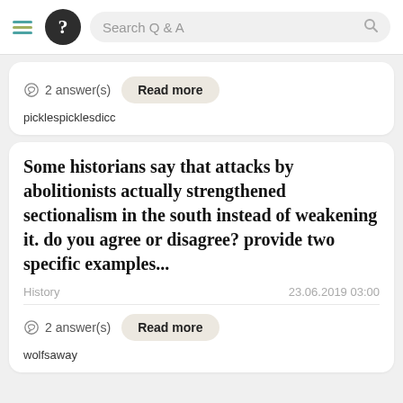Search Q & A
2 answer(s)   Read more
picklespicklesdicc
Some historians say that attacks by abolitionists actually strengthened sectionalism in the south instead of weakening it. do you agree or disagree? provide two specific examples...
History   23.06.2019 03:00
2 answer(s)   Read more
wolfsaway